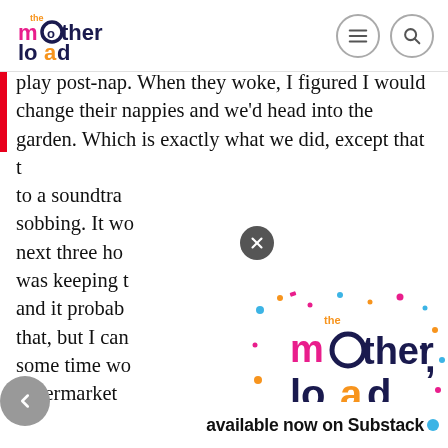the motherload — navigation header with logo, menu and search icons
play post-nap. When they woke, I figured I would change their nappies and we'd head into the garden. Which is exactly what we did, except that t... to a soundtra... sobbing. It wo... next three ho... was keeping t... and it probab... that, but I can... some time wo... supermarket ... also blocked ...
[Figure (logo): The Motherload newsletter logo with colourful letters and confetti, text: 'the motherload newsletter']
available now on Substack